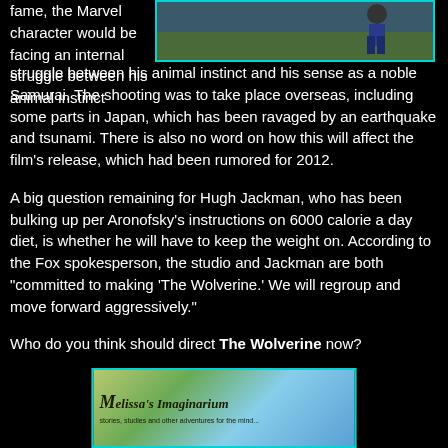[Figure (photo): Photo of Hugh Jackman outdoors, with teal/cyan border]
fame, the Marvel character would be facing an internal struggle between his animal instinct and his sense as a noble Samurai. The shooting was to take place overseas, including some parts in Japan, which has been ravaged by an earthquake and tsunami. There is also no word on how this will affect the film's release, which had been rumored for 2012.
A big question remaining for Hugh Jackman, who has been bulking up per Aronofsky's instructions on 6000 calorie a day diet, is whether he will have to keep the weight on. According to the Fox spokesperson, the studio and Jackman are both "committed to making 'The Wolverine.' We will regroup and move forward aggressively."
Who do you think should direct The Wolverine now?
[Figure (screenshot): Melissa's Imaginarium website banner with stylized text and nature/fantasy background]